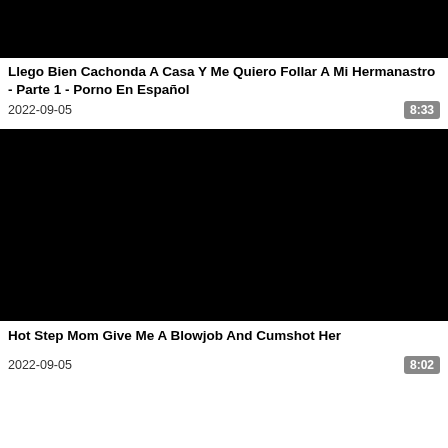[Figure (screenshot): Black video thumbnail at top of page]
Llego Bien Cachonda A Casa Y Me Quiero Follar A Mi Hermanastro - Parte 1 - Porno En Español
2022-09-05   8:33
[Figure (screenshot): Black video thumbnail second item]
Hot Step Mom Give Me A Blowjob And Cumshot Her
2022-09-05   8:02